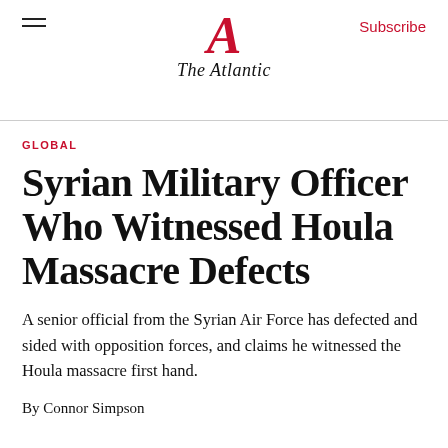The Atlantic
GLOBAL
Syrian Military Officer Who Witnessed Houla Massacre Defects
A senior official from the Syrian Air Force has defected and sided with opposition forces, and claims he witnessed the Houla massacre first hand.
By Connor Simpson